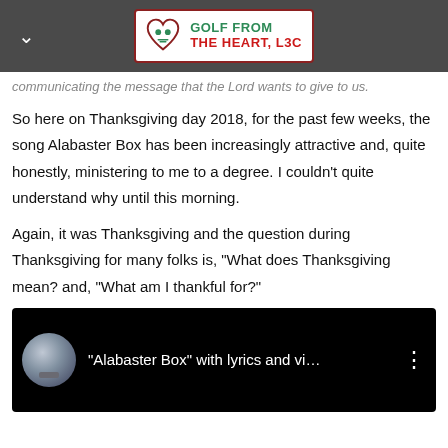GOLF FROM THE HEART, L3C
communicating the message that the Lord wants to give to us.
So here on Thanksgiving day 2018, for the past few weeks, the song Alabaster Box has been increasingly attractive and, quite honestly, ministering to me to a degree. I couldn't quite understand why until this morning.
Again, it was Thanksgiving and the question during Thanksgiving for many folks is, "What does Thanksgiving mean? and, "What am I thankful for?"
[Figure (screenshot): Embedded video player thumbnail showing '"Alabaster Box" with lyrics and vi...' with a circular profile image on a black background]